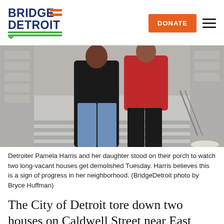[Figure (logo): BridgeDetroit logo with green underlines and speech bubble, orange bars accent]
[Figure (photo): Two people (Pamela Harris and her daughter) standing on steps in front of a building in winter clothing]
Detroiter Pamela Harris and her daughter stood on their porch to watch two long-vacant houses get demolished Tuesday. Harris believes this is a sign of progress in her neighborhood. (BridgeDetroit photo by Bryce Huffman)
The City of Detroit tore down two houses on Caldwell Street near East McNichols in the East Davison Village neighborhood Tuesday